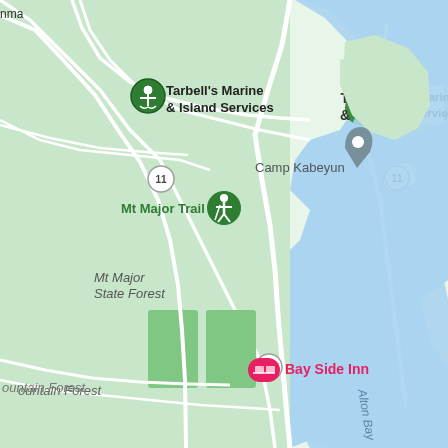[Figure (map): Google Maps screenshot showing an area around Mt Major Trail, Mt Major State Forest, Camp Kabeyun, Tarbell's Marine & Island Services, Bay Side Inn, and Alton Bay. The map shows green land areas, blue water bodies, and white roads. Route 11 runs through the area.]